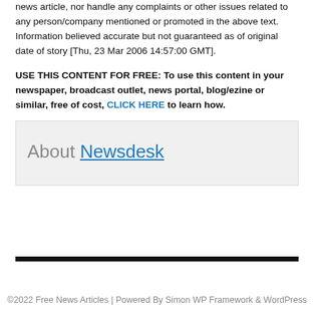news article, nor handle any complaints or other issues related to any person/company mentioned or promoted in the above text. Information believed accurate but not guaranteed as of original date of story [Thu, 23 Mar 2006 14:57:00 GMT].
USE THIS CONTENT FOR FREE: To use this content in your newspaper, broadcast outlet, news portal, blog/ezine or similar, free of cost, CLICK HERE to learn how.
About Newsdesk
©2022 Free News Articles | Powered By Simon WP Framework & WordPress